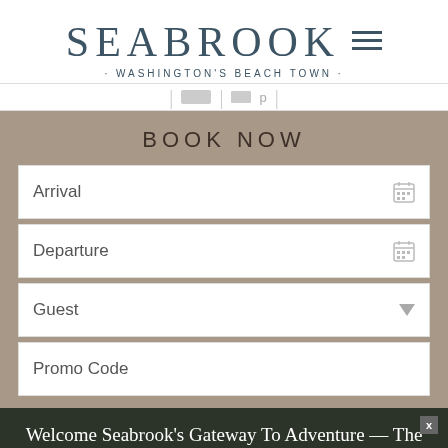SEABROOK · WASHINGTON'S BEACH TOWN ·
BOOK NOW
Arrival
Departure
Guest
Promo Code
Welcome Seabrook's Gateway To Adventure — The first homes in the Fernwood neighborhood have been released!